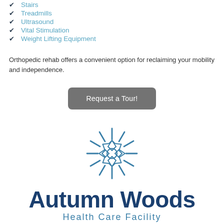Stairs
Treadmills
Ultrasound
Vital Stimulation
Weight Lifting Equipment
Orthopedic rehab offers a convenient option for reclaiming your mobility and independence.
[Figure (logo): Autumn Woods Health Care Facility logo — a circular sunburst/star shape in blue above the text Autumn Woods in dark navy bold and Health Care Facility in blue spaced letters]